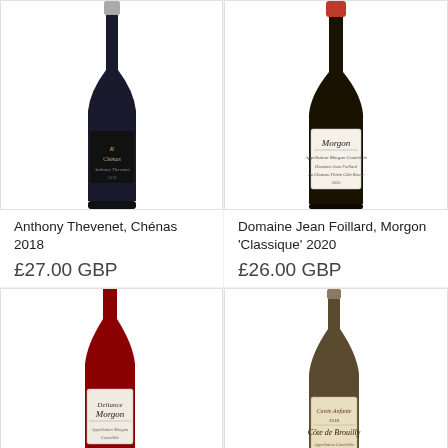[Figure (photo): Wine bottle: Anthony Thevenet, Chénas 2018 — dark bottle with black label]
Anthony Thevenet, Chénas 2018
£27.00 GBP
[Figure (photo): Wine bottle: Domaine Jean Foillard, Morgon 'Classique' 2020 — dark bottle with white label showing 'Morgon']
Domaine Jean Foillard, Morgon 'Classique' 2020
£26.00 GBP
[Figure (photo): Wine bottle — dark bottle with label showing 'Morgon', partially visible]
[Figure (photo): Wine bottle — bottle with label showing 'Côte de Brouilly', partially visible]